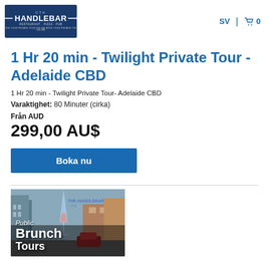[Figure (logo): Handlebar CTK Restaurant, Pizza, Pub logo on dark blue background]
SV | 🛒 0
1 Hr 20 min - Twilight Private Tour - Adelaide CBD
1 Hr 20 min - Twilight Private Tour- Adelaide CBD
Varaktighet: 80 Minuter (cirka)
Från AUD
299,00 AU$
Boka nu
[Figure (photo): Promotional image showing Public Brunch Tours with a champagne glass and street scene in background]